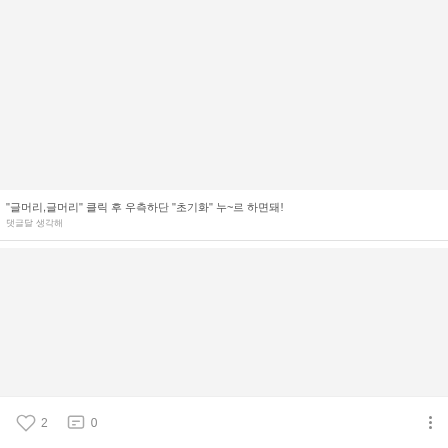[Figure (other): Light gray placeholder image area at top]
"글머리,글머리" 클릭 후 우측하단 "초기화" 누~르 하면돼!
댓글달 생각해
[Figure (other): Light gray content area below title]
♡ 2   💬 0